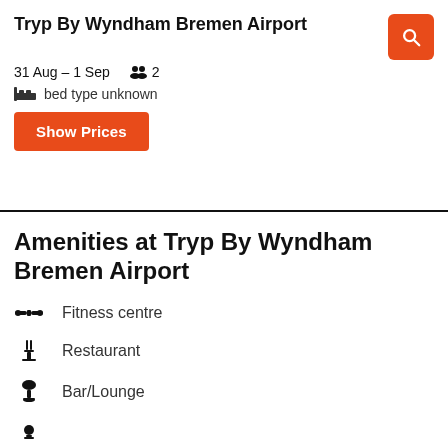Tryp By Wyndham Bremen Airport
31 Aug – 1 Sep   👥 2
🛏 bed type unknown
Show Prices
Amenities at Tryp By Wyndham Bremen Airport
Fitness centre
Restaurant
Bar/Lounge